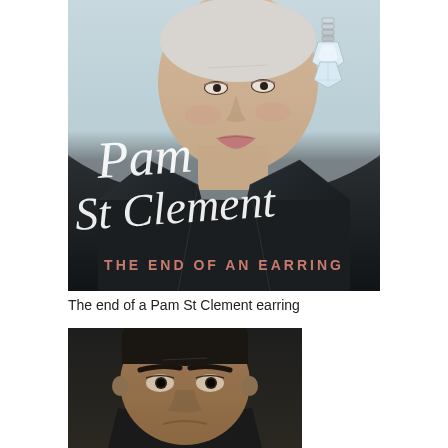[Figure (photo): Book cover of 'The End of an Earring' by Pam St Clement. Shows an elderly woman wearing a large crystal/diamond drop earring, dressed in a dark jacket, against a light blue-grey background. The author's name 'Pam St Clement' is written in white cursive script, and the subtitle 'THE END OF AN EARRING' appears in pink/rose spaced capital letters at the bottom.]
The end of a Pam St Clement earring
[Figure (photo): A man's face photographed from the shoulders up against a dark background. He has dark short hair and is looking directly at the camera. Only the top portion of his face is visible in the cropped image.]